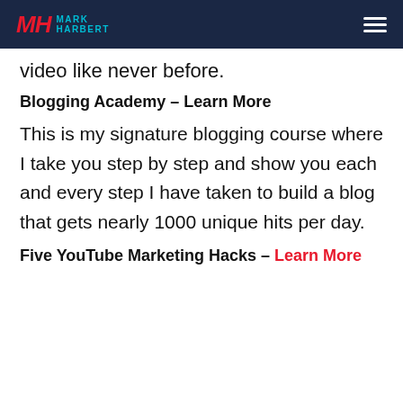MARK HARBERT
video like never before.
Blogging Academy – Learn More
This is my signature blogging course where I take you step by step and show you each and every step I have taken to build a blog that gets nearly 1000 unique hits per day.
Five YouTube Marketing Hacks – Learn More